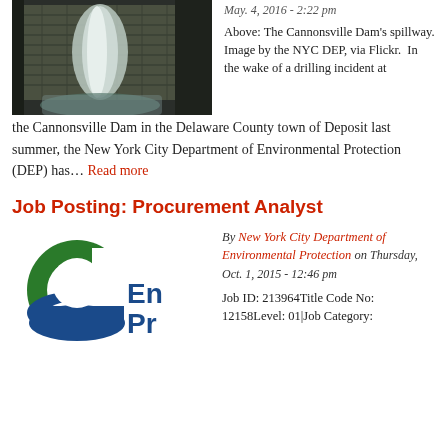[Figure (photo): Photo of the Cannonsville Dam's spillway, water flowing over concrete structure]
May. 4, 2016 - 2:22 pm
Above: The Cannonsville Dam's spillway. Image by the NYC DEP, via Flickr.  In the wake of a drilling incident at the Cannonsville Dam in the Delaware County town of Deposit last summer, the New York City Department of Environmental Protection (DEP) has... Read more
Job Posting: Procurement Analyst
[Figure (logo): NYC DEP logo - green and blue circular design with letter C, with text 'Environmental Protection' partially visible]
By New York City Department of Environmental Protection on Thursday, Oct. 1, 2015 - 12:46 pm
Job ID: 213964Title Code No: 12158Level: 01|Job Category: